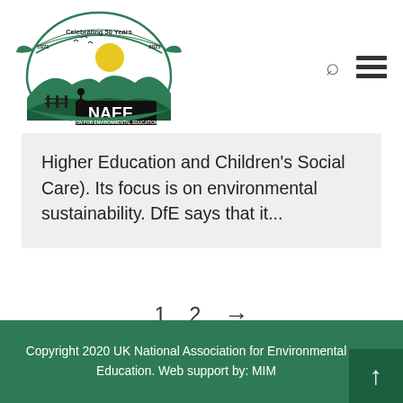[Figure (logo): NAEE (National Association for Environmental Education UK) logo. Circular green emblem with banner reading '1971 Celebrating 50 Years 2021', landscape scene with sun, birds, trees, silhouette of child, fence, 'NAEE' text in white on dark background, 'NATIONAL ASSOCIATION FOR ENVIRONMENTAL EDUCATION (UK)' banner at bottom, 'Registered charity no. 1166502' below.]
Higher Education and Children's Social Care). Its focus is on environmental sustainability. DfE says that it...
1
2
Copyright 2020 UK National Association for Environmental Education. Web support by: MIM